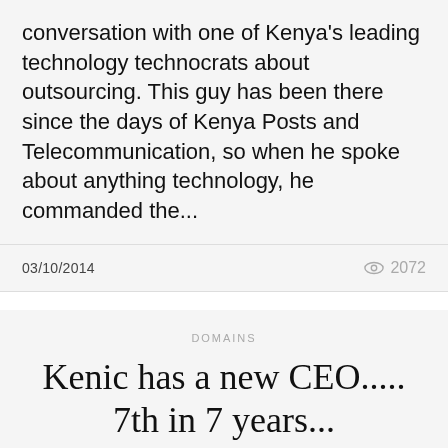conversation with one of Kenya's leading technology technocrats about outsourcing. This guy has been there since the days of Kenya Posts and Telecommunication, so when he spoke about anything technology, he commanded the...
03/10/2014  👁 2072
DOMAINS
Kenic has a new CEO..... 7th in 7 years...
BY REBECCA